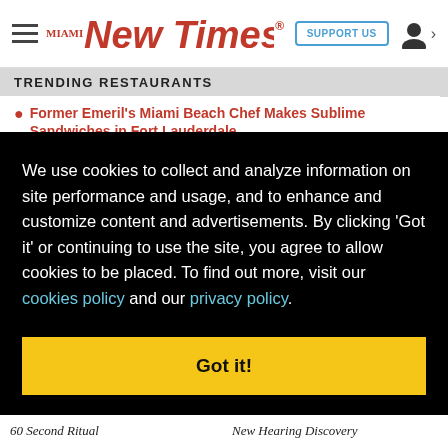[Figure (logo): Miami New Times logo in red with hamburger menu, Support Us button, and user icon]
TRENDING RESTAURANTS
Former Emeril's Miami Beach Chef Makes Sublime Sandwiches in Fort Lauderdale
We use cookies to collect and analyze information on site performance and usage, and to enhance and customize content and advertisements. By clicking 'Got it' or continuing to use the site, you agree to allow cookies to be placed. To find out more, visit our cookies policy and our privacy policy.
Got it!
60 Second Ritual
New Hearing Discovery